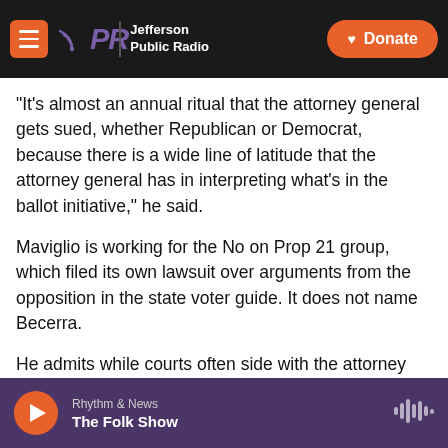[Figure (screenshot): JPR Jefferson Public Radio navigation bar with hamburger menu, logo, and orange Donate button]
“It’s almost an annual ritual that the attorney general gets sued, whether Republican or Democrat, because there is a wide line of latitude that the attorney general has in interpreting what’s in the ballot initiative,” he said.
Maviglio is working for the No on Prop 21 group, which filed its own lawsuit over arguments from the opposition in the state voter guide. It does not name Becerra.
He admits while courts often side with the attorney general and other elected officials on these issues,
[Figure (screenshot): Audio player bar showing Rhythm & News / The Folk Show with orange play button and waveform icon on purple background]